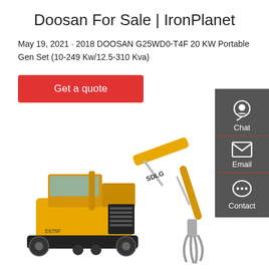Doosan For Sale | IronPlanet
May 19, 2021 · 2018 DOOSAN G25WD0-T4F 20 KW Portable Gen Set (10-249 Kw/12.5-310 Kva)
Get a quote
[Figure (photo): Yellow SDLG E675F tracked excavator with grapple attachment on white background]
[Figure (infographic): Dark grey sidebar with Chat, Email, and Contact icons and labels]